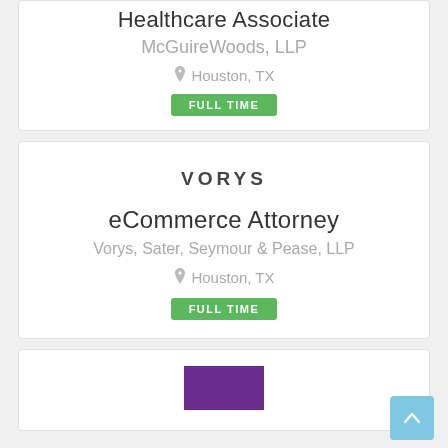Healthcare Associate
McGuireWoods, LLP
Houston, TX
FULL TIME
[Figure (logo): VORYS text logo in bold uppercase dark letters with wide letter spacing]
eCommerce Attorney
Vorys, Sater, Seymour & Pease, LLP
Houston, TX
FULL TIME
[Figure (logo): Purple rectangle logo at bottom of page, partially visible]